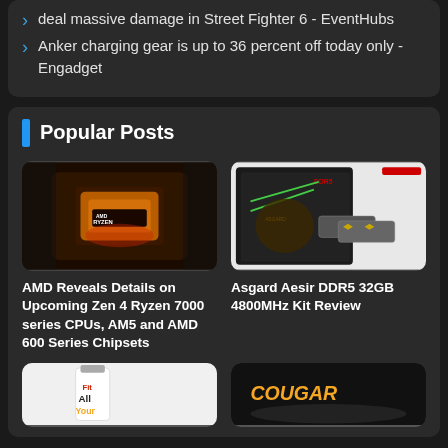deal massive damage in Street Fighter 6 - EventHubs
Anker charging gear is up to 36 percent off today only - Engadget
Popular Posts
[Figure (photo): AMD Ryzen CPU close-up photo with copper heat spreader and red illuminated details]
[Figure (photo): Asgard Aesir DDR5 32GB 4800MHz RAM kit packaging with memory sticks]
AMD Reveals Details on Upcoming Zen 4 Ryzen 7000 series CPUs, AM5 and AMD 600 Series Chipsets
Asgard Aesir DDR5 32GB 4800MHz Kit Review
[Figure (photo): White USB device with text All Your on light background]
[Figure (photo): Cougar branded dark gaming peripheral product]